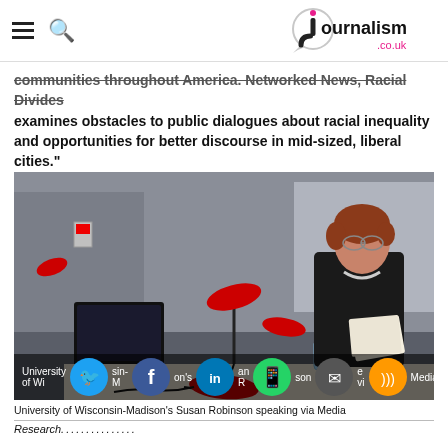journalism.co.uk
communities throughout America. Networked News, Racial Divides examines obstacles to public dialogues about racial inequality and opportunities for better discourse in mid-sized, liberal cities."
[Figure (photo): A woman in a black leather jacket with short auburn hair and glasses stands at a lectern/table holding papers, with red microphones in front of her. A laptop screen is visible to her left. The setting appears to be an academic conference room. Social media share icons (Twitter, Facebook, LinkedIn, WhatsApp, Email, RSS) are overlaid at the bottom of the image.]
University of Wisconsin-Madison's Susan Robinson speaking via Media
Research...